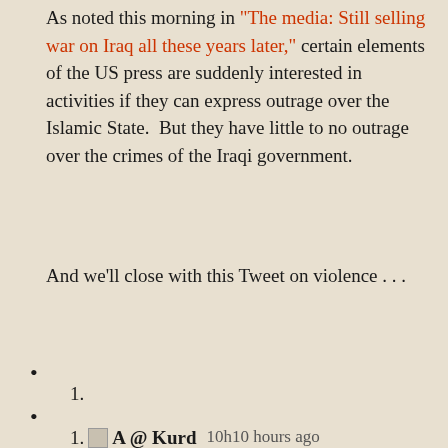As noted this morning in "The media: Still selling war on Iraq all these years later," certain elements of the US press are suddenly interested in activities if they can express outrage over the Islamic State.  But they have little to no outrage over the crimes of the Iraqi government.
And we'll close with this Tweet on violence . . .
•
1.
•
1. A @ Kurd  10h10 hours ago